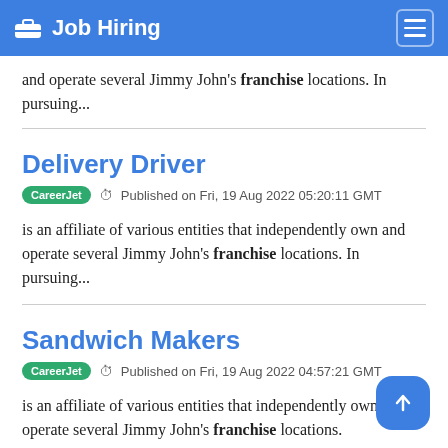Job Hiring
and operate several Jimmy John's franchise locations. In pursuing...
Delivery Driver
CareerJet  Published on Fri, 19 Aug 2022 05:20:11 GMT
is an affiliate of various entities that independently own and operate several Jimmy John's franchise locations. In pursuing...
Sandwich Makers
CareerJet  Published on Fri, 19 Aug 2022 04:57:21 GMT
is an affiliate of various entities that independently own and operate several Jimmy John's franchise locations.